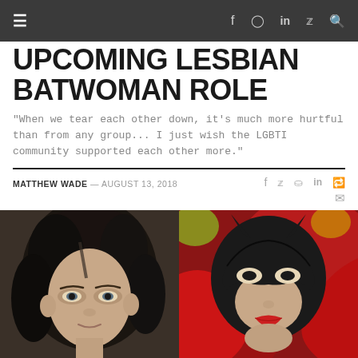≡  f  ⬤  in  🐦  🔍
UPCOMING LESBIAN BATWOMAN ROLE
"When we tear each other down, it's much more hurtful than from any group... I just wish the LGBTI community supported each other more."
MATTHEW WADE — AUGUST 13, 2018
[Figure (photo): Two side-by-side images: left shows a person with short dark hair (Ruby Rose), right shows comic-book art of Batwoman in a black mask and red costume.]